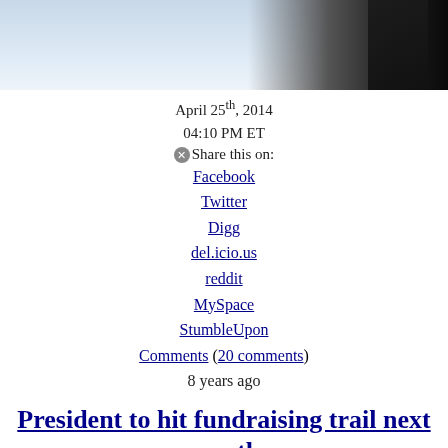[Figure (photo): Partial photo of a person in dark clothing on stairs, cropped at top of page]
April 25th, 2014
04:10 PM ET
Share this on:
Facebook
Twitter
Digg
del.icio.us
reddit
MySpace
StumbleUpon
Comments (20 comments)
8 years ago
President to hit fundraising trail next month
[Figure (photo): Headshot of CNN Political Editor Paul Steinhauser]
Posted by
CNN Political Editor Paul Steinhauser